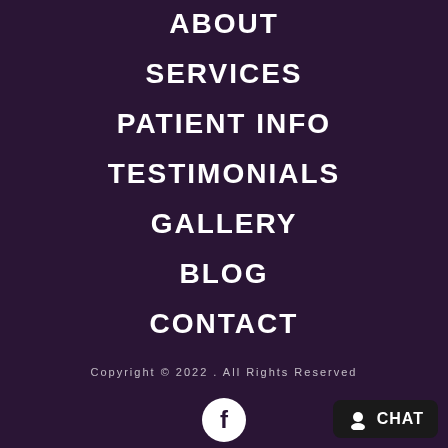ABOUT
SERVICES
PATIENT INFO
TESTIMONIALS
GALLERY
BLOG
CONTACT
Copyright © 2022 . All Rights Reserved
[Figure (logo): Facebook icon in white circle]
[Figure (screenshot): Chat button with person icon]